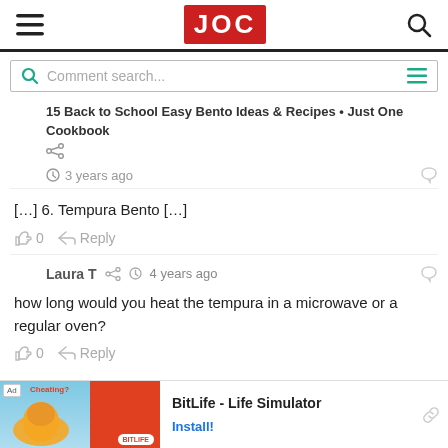JOC (Just One Cookbook) website header with hamburger menu, JOC logo, and search icon
Comment search...
15 Back to School Easy Bento Ideas & Recipes • Just One Cookbook
3 years ago
[…] 6. Tempura Bento […]
0   Reply
Laura T   4 years ago
how long would you heat the tempura in a microwave or a regular oven?
0   Reply
[Figure (illustration): BitLife - Life Simulator app advertisement banner with animated character and BitLife logo]
BitLife - Life Simulator
Install!